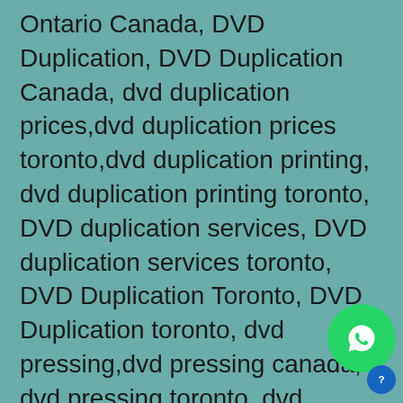Ontario Canada, DVD Duplication, DVD Duplication Canada, dvd duplication prices,dvd duplication prices toronto,dvd duplication printing, dvd duplication printing toronto, DVD duplication services, DVD duplication services toronto, DVD Duplication Toronto, DVD Duplication toronto, dvd pressing,dvd pressing canada, dvd pressing toronto, dvd replication,dvd replication canada, dvd replication toronto, Prices CD Duplication Toronto, Prices dvd Duplication Toronto, short run cd duplication, Short Run CD Duplication Toronto, short run cd duplication toronto
[Figure (other): WhatsApp contact button icon (green circle with phone handset) and a small blue info circle icon, bottom right corner]